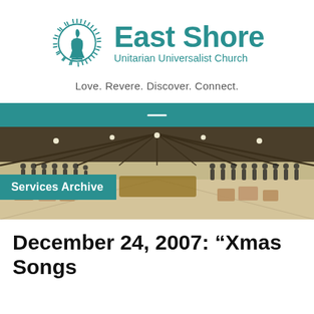[Figure (logo): East Shore Unitarian Universalist Church logo with flaming chalice symbol and teal text]
Love. Revere. Discover. Connect.
[Figure (photo): Interior panoramic photo of East Shore Unitarian Universalist Church sanctuary with chairs, exposed ceiling beams, and congregation members standing around the perimeter. 'Services Archive' label overlaid on teal background.]
December 24, 2007: “Xmas Songs of the Soul”